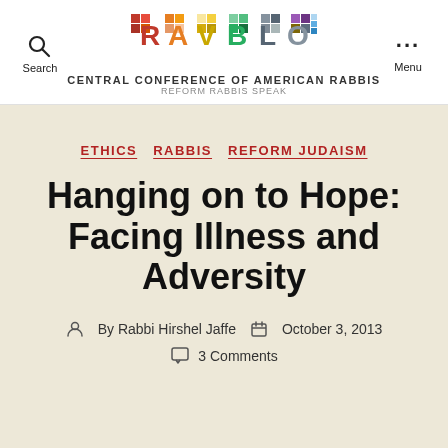RAVBLOG — CENTRAL CONFERENCE OF AMERICAN RABBIS — REFORM RABBIS SPEAK
ETHICS  RABBIS  REFORM JUDAISM
Hanging on to Hope: Facing Illness and Adversity
By Rabbi Hirshel Jaffe  October 3, 2013  3 Comments